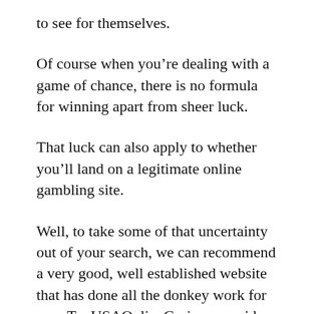to see for themselves.
Of course when you’re dealing with a game of chance, there is no formula for winning apart from sheer luck.
That luck can also apply to whether you’ll land on a legitimate online gambling site.
Well, to take some of that uncertainty out of your search, we can recommend a very good, well established website that has done all the donkey work for you. TopUSAOnlineCasinos provide a full directory of the best legitimate online casinos you’ll find anywhere on the net. This free guide is designed to help players in